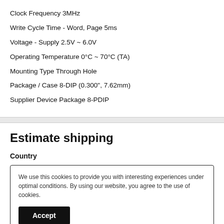Clock Frequency 3MHz
Write Cycle Time - Word, Page 5ms
Voltage - Supply 2.5V ~ 6.0V
Operating Temperature 0°C ~ 70°C (TA)
Mounting Type Through Hole
Package / Case 8-DIP (0.300", 7.62mm)
Supplier Device Package 8-PDIP
Estimate shipping
Country
We use this cookies to provide you with interesting experiences under optimal conditions. By using our website, you agree to the use of cookies.
Accept
6th of October